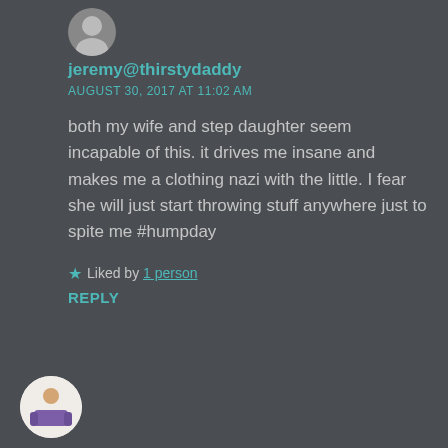[Figure (illustration): Small circular avatar icon at top, partially cropped]
jeremy@thirstydaddy
AUGUST 30, 2017 AT 11:02 AM
both my wife and step daughter seem incapable of this. it drives me insane and makes me a clothing nazi with the little. I fear she will just start throwing stuff anywhere just to spite me #humpday
★ Liked by 1 person
REPLY
[Figure (illustration): Small circular avatar icon at bottom left with cartoon figure]